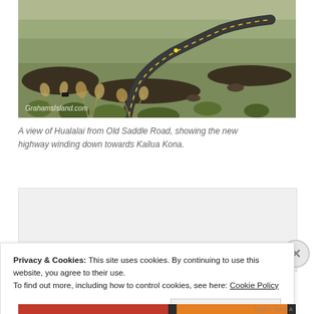[Figure (photo): A landscape photo of a winding road (new highway) cutting through scrubby grassland with volcanic terrain, viewed from Old Saddle Road with Hualalai in the background. A watermark reads 'GrahamsIsland.com' in the lower left corner.]
A view of Hualalai from Old Saddle Road, showing the new highway winding down towards Kailua Kona.
[Figure (other): A gray advertisement placeholder box.]
Privacy & Cookies: This site uses cookies. By continuing to use this website, you agree to their use.
To find out more, including how to control cookies, see here: Cookie Policy